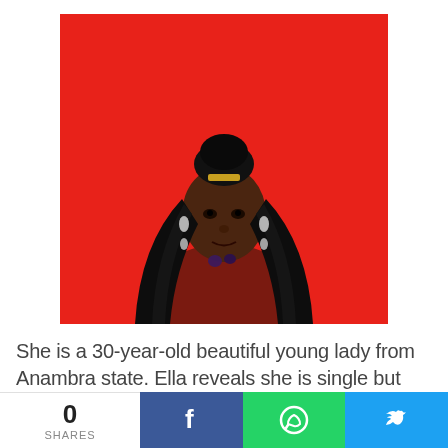[Figure (photo): A woman with long black hair and hair accessories, wearing a dark red top, posed against a bright red background.]
She is a 30-year-old beautiful young lady from Anambra state. Ella reveals she is single but not available.
She also says she likes to dance a lot as we
0 SHARES  [Facebook] [WhatsApp] [Twitter]